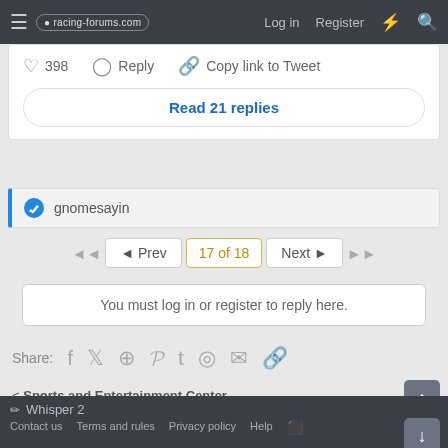racing-forums.com  Log in  Register
♡ 398   Reply   Copy link to Tweet
Read 21 replies
gnomesayin
◄◄  ◄ Prev  17 of 18  Next ►  ►►
You must log in or register to reply here.
Share:
< Sports and Entertainment Center
Whisper 2   Contact us  Terms and rules  Privacy policy  Help